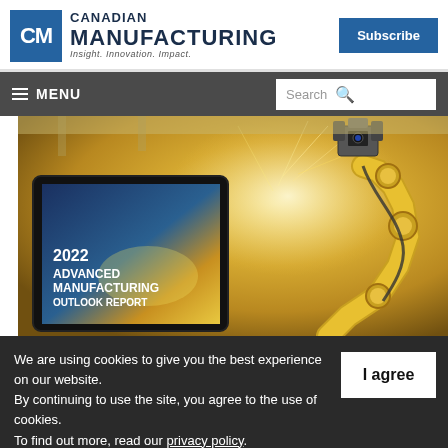Canadian Manufacturing — Insight. Innovation. Impact.
[Figure (screenshot): Canadian Manufacturing website header with logo (CM icon, Canadian Manufacturing text, tagline: Insight. Innovation. Impact.), Subscribe button, navigation menu bar with hamburger menu and search box, hero image of a yellow robotic arm above a tablet showing '2022 Advanced Manufacturing Outlook Report']
We are using cookies to give you the best experience on our website.
By continuing to use the site, you agree to the use of cookies.
To find out more, read our privacy policy.